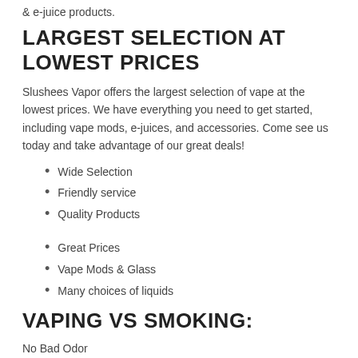& e-juice products.
LARGEST SELECTION AT LOWEST PRICES
Slushees Vapor offers the largest selection of vape at the lowest prices. We have everything you need to get started, including vape mods, e-juices, and accessories. Come see us today and take advantage of our great deals!
Wide Selection
⁣Friendly service
⁣Quality Products
⁣Great Prices
⁣Vape Mods & Glass
⁣Many choices of liquids
VAPING VS SMOKING:
No Bad Odor
More Cost-Effective
Helps Quit Smoking Cigarettes
Enjoy a cleaner, fresher taste in your mouth and throat